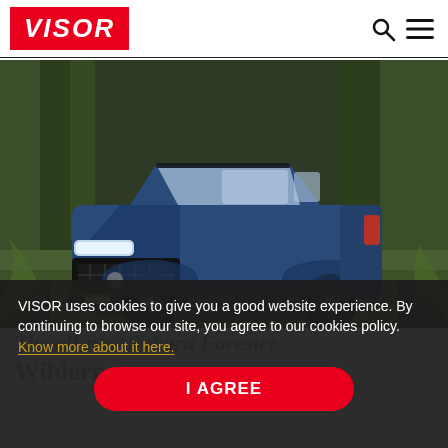VISOR
[Figure (photo): Blue Subaru Forester Wilderness SUV on a muddy forest trail surrounded by green ferns and trees]
VISOR uses cookies to give you a good website experience. By continuing to browse our site, you agree to our cookies policy. Know more about it here.
I AGREE
The all-new Subaru Forester Wilderness is...